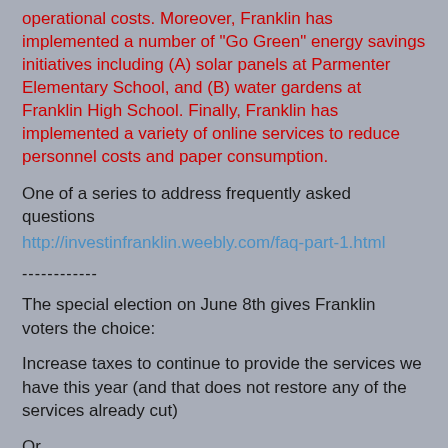operational costs. Moreover, Franklin has implemented a number of “Go Green” energy savings initiatives including (A) solar panels at Parmenter Elementary School, and (B) water gardens at Franklin High School. Finally, Franklin has implemented a variety of online services to reduce personnel costs and paper consumption.
One of a series to address frequently asked questions
http://investinfranklin.weebly.com/faq-part-1.html
------------
The special election on June 8th gives Franklin voters the choice:
Increase taxes to continue to provide the services we have this year (and that does not restore any of the services already cut)
Or